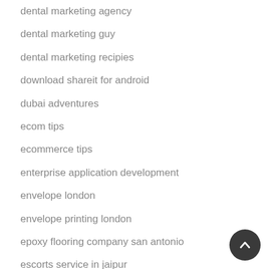dental marketing agency
dental marketing guy
dental marketing recipies
download shareit for android
dubai adventures
ecom tips
ecommerce tips
enterprise application development
envelope london
envelope printing london
epoxy flooring company san antonio
escorts service in jaipur
fack ju göhte hd filme